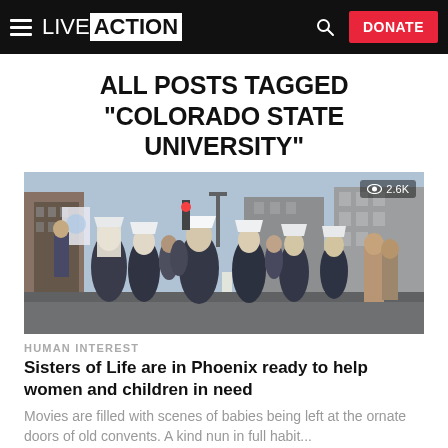LIVE ACTION — DONATE
ALL POSTS TAGGED "COLORADO STATE UNIVERSITY"
[Figure (photo): Group of nuns in white habits marching on a city street with signs, other people in background, urban setting]
HUMAN INTEREST
Sisters of Life are in Phoenix ready to help women and children in need
Movies are filled with scenes of babies being left at the ornate doors of old convents. A kind nun in full habit...